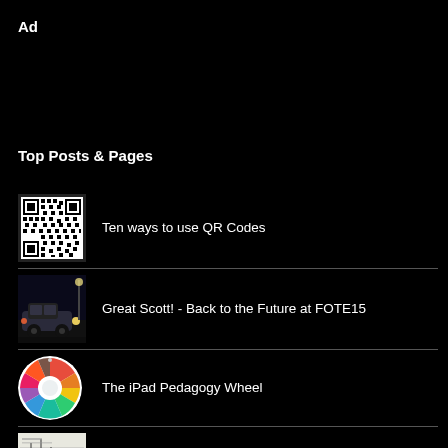Ad
Top Posts & Pages
Ten ways to use QR Codes
Great Scott! - Back to the Future at FOTE15
The iPad Pedagogy Wheel
100 ways to use a VLE – #26 Lesson Plans
Day 30: Showcase your EdTech Journey